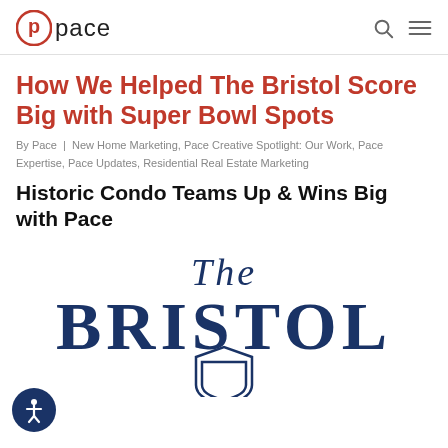pace
How We Helped The Bristol Score Big with Super Bowl Spots
By Pace | New Home Marketing, Pace Creative Spotlight: Our Work, Pace Expertise, Pace Updates, Residential Real Estate Marketing
Historic Condo Teams Up & Wins Big with Pace
[Figure (logo): The Bristol logo featuring italic 'The' above large bold 'BRISTOL' text and a shield emblem, all in navy blue]